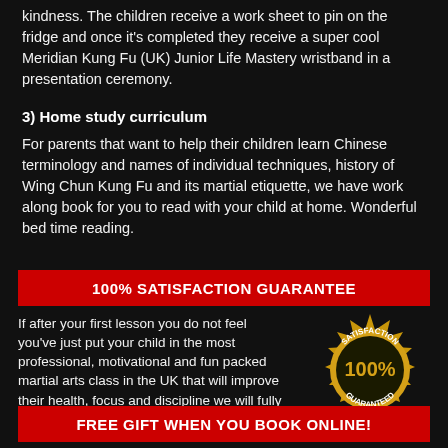kindness. The children receive a work sheet to pin on the fridge and once it's completed they receive a super cool Meridian Kung Fu (UK) Junior Life Mastery wristband in a presentation ceremony.
3) Home study curriculum
For parents that want to help their children learn Chinese terminology and names of individual techniques, history of Wing Chun Kung Fu and its martial etiquette, we have work along book for you to read with your child at home. Wonderful bed time reading.
100% SATISFACTION GUARANTEE
If after your first lesson you do not feel you've just put your child in the most professional, motivational and fun packed martial arts class in the UK that will improve their health, focus and discipline we will fully refund your fee.
[Figure (illustration): Gold satisfaction guarantee badge/seal with '100%' in the center and 'SATISFACTION GUARANTEED' text around the edge on a dark background]
FREE GIFT WHEN YOU BOOK ONLINE!